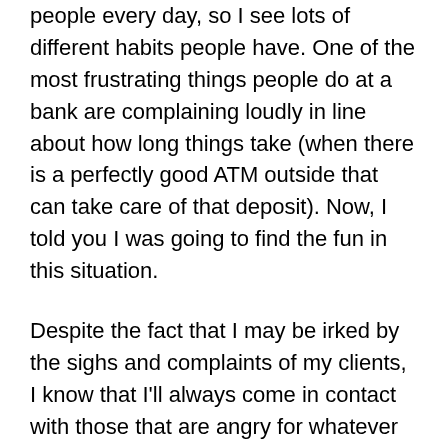people every day, so I see lots of different habits people have. One of the most frustrating things people do at a bank are complaining loudly in line about how long things take (when there is a perfectly good ATM outside that can take care of that deposit). Now, I told you I was going to find the fun in this situation.
Despite the fact that I may be irked by the sighs and complaints of my clients, I know that I'll always come in contact with those that are angry for whatever reason, and I must attempt to turn the situations around. For example, now I started telling a story about what it must have been like when we used the barter system trading chickens. I mentioned how funny it is how sometimes we come across fake bills in the bank and how funny it must have been for somebody to attempt to barter with a counterfeit chicken (obviously this is absurd).
But who knows!